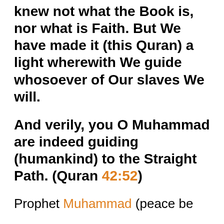knew not what the Book is, nor what is Faith. But We have made it (this Quran) a light wherewith We guide whosoever of Our slaves We will.
And verily, you O Muhammad are indeed guiding (humankind) to the Straight Path. (Quran 42:52)
Prophet Muhammad (peace be